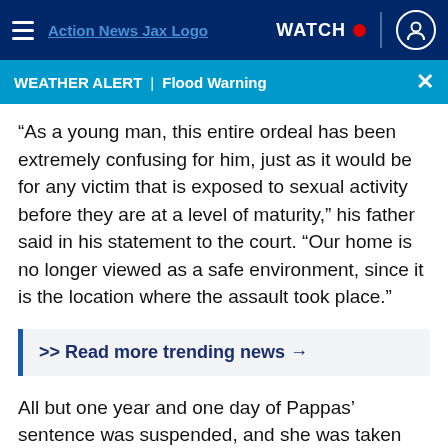Action News Jax Logo | WATCH | profile icon
WEATHER ALERT | Flood Warning
“As a young man, this entire ordeal has been extremely confusing for him, just as it would be for any victim that is exposed to sexual activity before they are at a level of maturity,” his father said in his statement to the court. “Our home is no longer viewed as a safe environment, since it is the location where the assault took place.”
>> Read more trending news →
All but one year and one day of Pappas’ sentence was suspended, and she was taken into custody following her hearing. In addition to jail time, she has